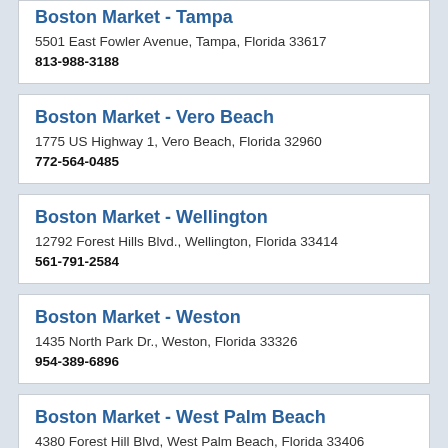Boston Market - Tampa
5501 East Fowler Avenue, Tampa, Florida 33617
813-988-3188
Boston Market - Vero Beach
1775 US Highway 1, Vero Beach, Florida 32960
772-564-0485
Boston Market - Wellington
12792 Forest Hills Blvd., Wellington, Florida 33414
561-791-2584
Boston Market - Weston
1435 North Park Dr., Weston, Florida 33326
954-389-6896
Boston Market - West Palm Beach
4380 Forest Hill Blvd, West Palm Beach, Florida 33406
561-966-2519